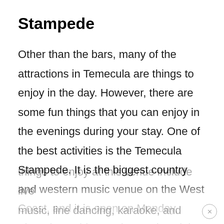Stampede
Other than the bars, many of the attractions in Temecula are things to enjoy in the day. However, there are some fun things that you can enjoy in the evenings during your stay. One of the best activities is the Temecula Stampede. It is the biggest country and western music venue on the West Coast, and it is open on Monday, Thursday, Friday, and Saturday nights. Some of the things to enjoy at this venue include live music, line dancing, karaoke, and